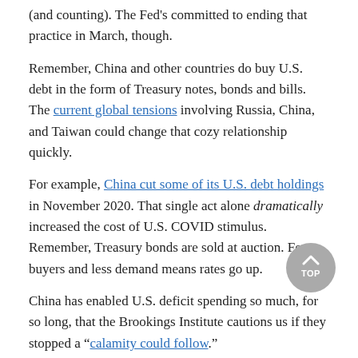(and counting). The Fed's committed to ending that practice in March, though.
Remember, China and other countries do buy U.S. debt in the form of Treasury notes, bonds and bills. The current global tensions involving Russia, China, and Taiwan could change that cozy relationship quickly.
For example, China cut some of its U.S. debt holdings in November 2020. That single act alone dramatically increased the cost of U.S. COVID stimulus. Remember, Treasury bonds are sold at auction. Fewer buyers and less demand means rates go up.
China has enabled U.S. deficit spending so much, for so long, that the Brookings Institute cautions us if they stopped a “calamity could follow.”
Couldn’t the government just print more?
Excessive debt in your own currency can lead to disaster, as we’ve discussed before.